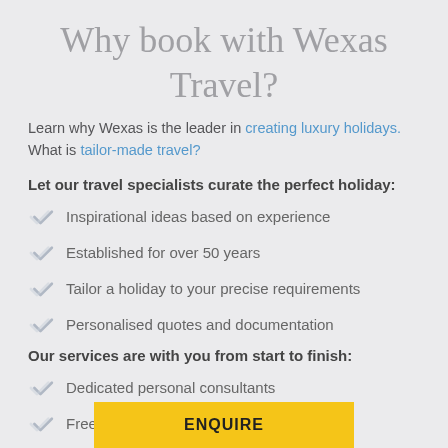Why book with Wexas Travel?
Learn why Wexas is the leader in creating luxury holidays. What is tailor-made travel?
Let our travel specialists curate the perfect holiday:
Inspirational ideas based on experience
Established for over 50 years
Tailor a holiday to your precise requirements
Personalised quotes and documentation
Our services are with you from start to finish:
Dedicated personal consultants
Free airpor…
ENQUIRE